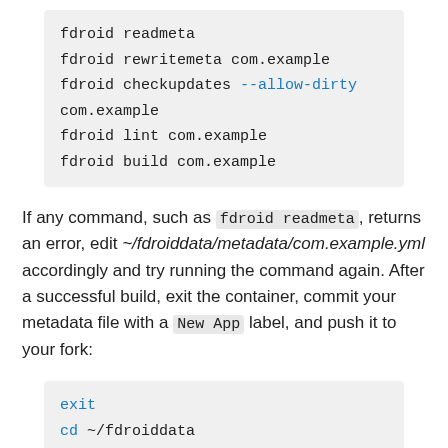[Figure (other): Code block showing fdroid commands: readmeta, rewritemeta, checkupdates --allow-dirty, lint, build]
If any command, such as fdroid readmeta, returns an error, edit ~/fdroiddata/metadata/com.example.yml accordingly and try running the command again. After a successful build, exit the container, commit your metadata file with a New App label, and push it to your fork:
[Figure (other): Code block showing git commands: exit, cd ~/fdroiddata, git add metadata/com.example.yml, git commit -m "New App: com.example", git push origin com.example]
Create a merge request at the fdroiddata repository,